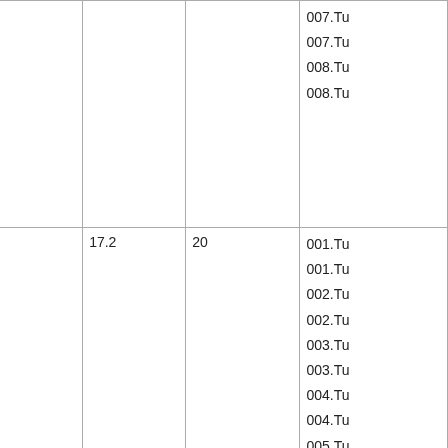| (col1) | (col2) | (col3) | (col4) |
| --- | --- | --- | --- |
|  |  |  | 007.Tu
007.Tu
008.Tu
008.Tu |
|  | 17.2 | 20 | 001.Tu
001.Tu
002.Tu
002.Tu
003.Tu
003.Tu
004.Tu
004.Tu
005.Tu
005.Tu
006.Tu
006.Tu
007.Tu
007.Tu
008.Tu |